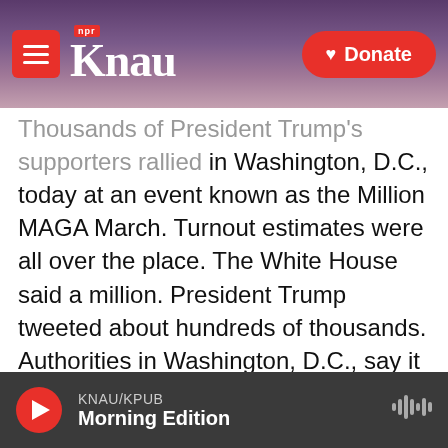KNAU NPR - Donate
Thousands of President Trump's supporters rallied in Washington, D.C., today at an event known as the Million MAGA March. Turnout estimates were all over the place. The White House said a million. President Trump tweeted about hundreds of thousands. Authorities in Washington, D.C., say it was more like 10,000. Whatever the figure, it was a bigger than expected public showing for Trump supporters who believe without evidence that he was robbed of a second term.
NPR's Hannah Allam was at the rally. She's actually still in the field near the White House. And she's with us from there.
KNAU/KPUB Morning Edition